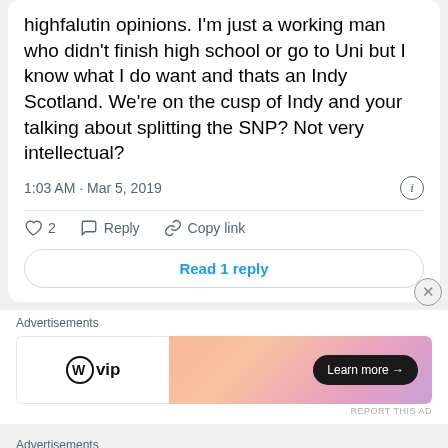highfalutin opinions. I'm just a working man who didn't finish high school or go to Uni but I know what I do want and thats an Indy Scotland. We're on the cusp of Indy and your talking about splitting the SNP? Not very intellectual?
1:03 AM · Mar 5, 2019
♡ 2  Reply  Copy link
Read 1 reply
Advertisements
[Figure (other): WordPress VIP advertisement banner with gradient orange-pink background and Learn more button]
REPORT THIS AD
Advertisements
REPORT THIS AD